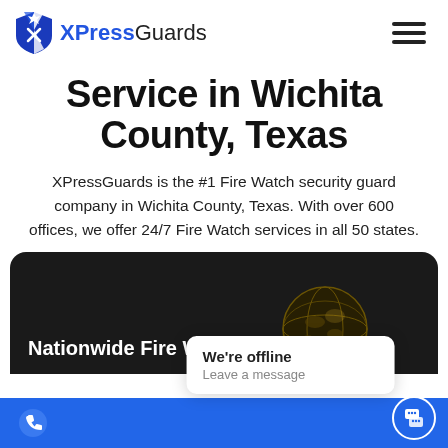[Figure (logo): XPressGuards logo with blue shield icon and text 'XPressGuards']
Service in Wichita County, Texas
XPressGuards is the #1 Fire Watch security guard company in Wichita County, Texas. With over 600 offices, we offer 24/7 Fire Watch services in all 50 states.
[Figure (screenshot): Dark banner with text 'Nationwide Fire Watch' and a globe image partially visible, with a 'We're offline / Leave a message' chat popup and blue bottom bar with chat button]